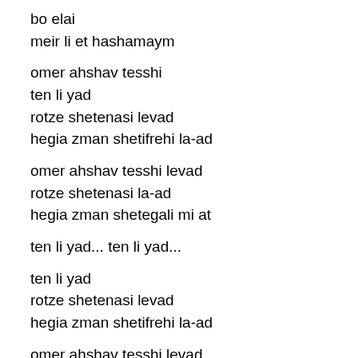bo elai
meir li et hashamaym

omer ahshav tesshi
ten li yad
rotze shetenasi levad
hegia zman shetifrehi la-ad

omer ahshav tesshi levad
rotze shetenasi la-ad
hegia zman shetegali mi at

ten li yad... ten li yad...

ten li yad
rotze shetenasi levad
hegia zman shetifrehi la-ad